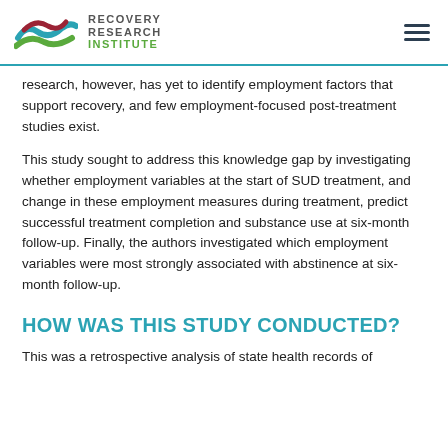RECOVERY RESEARCH INSTITUTE
research, however, has yet to identify employment factors that support recovery, and few employment-focused post-treatment studies exist.
This study sought to address this knowledge gap by investigating whether employment variables at the start of SUD treatment, and change in these employment measures during treatment, predict successful treatment completion and substance use at six-month follow-up. Finally, the authors investigated which employment variables were most strongly associated with abstinence at six-month follow-up.
HOW WAS THIS STUDY CONDUCTED?
This was a retrospective analysis of state health records of